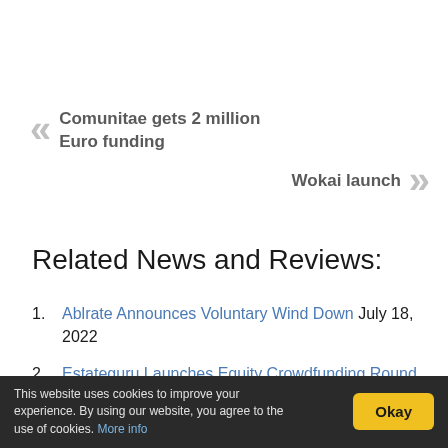« Comunitae gets 2 million Euro funding
Wokai launch »
Related News and Reviews:
Ablrate Announces Voluntary Wind Down July 18, 2022
Estateguru Launches Equity Crowdfunding Round on Seedrs to Raise 2M April 28, 2020
Ratesetter UK Era Ends for Retail Investor February
This website uses cookies to improve your experience. By using our website, you agree to the use of cookies. More info